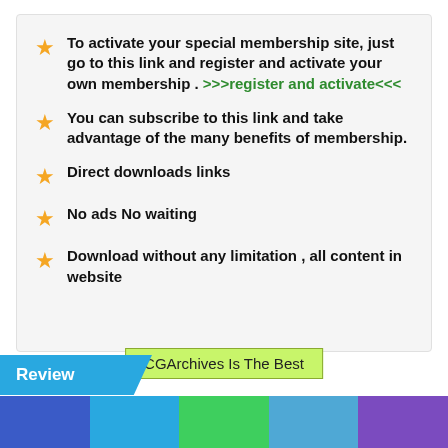To activate your special membership site, just go to this link and register and activate your own membership . >>>register and activate<<<
You can subscribe to this link and take advantage of the many benefits of membership.
Direct downloads links
No ads No waiting
Download without any limitation , all content in website
CGArchives Is The Best
Review